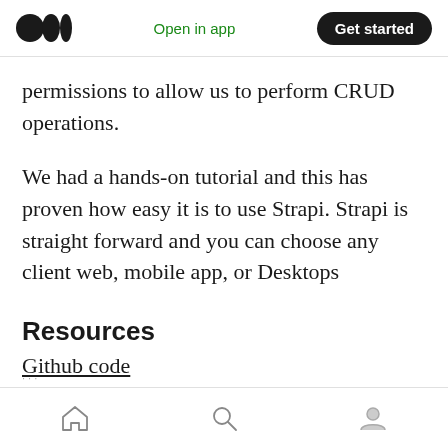Open in app | Get started
permissions to allow us to perform CRUD operations.
We had a hands-on tutorial and this has proven how easy it is to use Strapi. Strapi is straight forward and you can choose any client web, mobile app, or Desktops
Resources
Github code
Home | Search | Profile